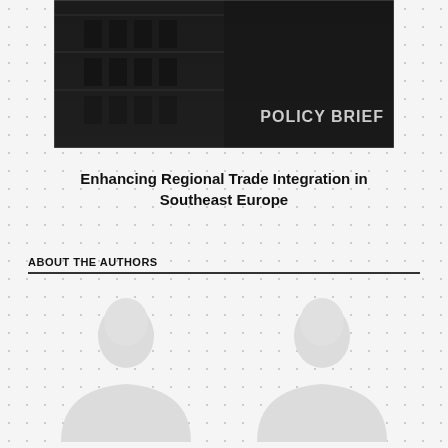[Figure (photo): Dark grayscale photograph of a building facade with 'POLICY BRIEF' text overlaid in the lower right corner]
Enhancing Regional Trade Integration in Southeast Europe
ABOUT THE AUTHORS
[Figure (illustration): Two gray silhouette placeholder images of people (author placeholders), side by side]